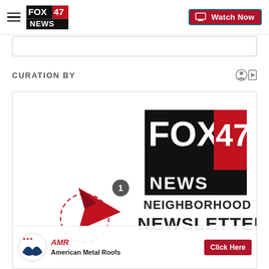[Figure (screenshot): Fox 47 News website header with hamburger menu icon, Fox 47 News logo, and Watch Now button with monitor icon]
[Figure (screenshot): Search bar strip (partial, cropped at top)]
CURATION BY
[Figure (screenshot): Fox 47 News Neighborhood Newsletter promotional card with Fox 47 News logo, paper airplane icon with notification badge, and NEIGHBORHOOD NEWSLETTER text over white background]
[Figure (screenshot): American Metal Roofs advertisement banner with eagle logo, AMR text, American Metal Roofs label, and Click Here red button]